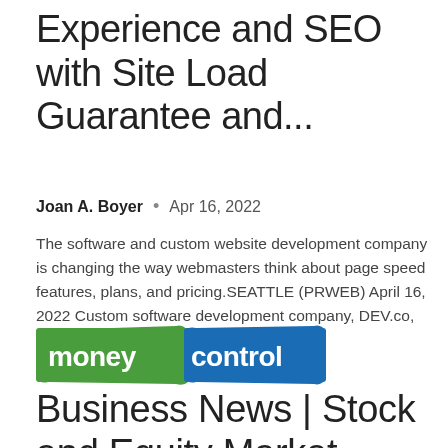Experience and SEO with Site Load Guarantee and...
Joan A. Boyer  •  Apr 16, 2022
The software and custom website development company is changing the way webmasters think about page speed features, plans, and pricing.SEATTLE (PRWEB) April 16, 2022 Custom software development company, DEV.co, is pleased to announce a...
[Figure (logo): Moneycontrol logo — green background with 'money' in white text and blue background with 'control' in white text]
Business News | Stock and Equity Market News | Financial